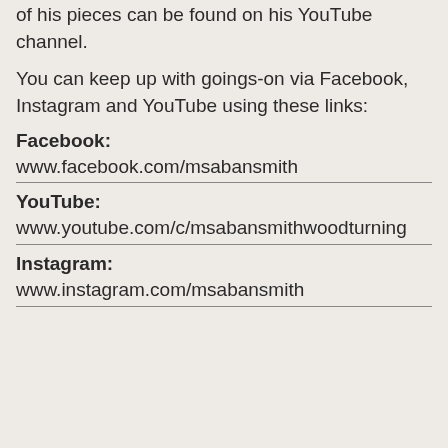of his pieces can be found on his YouTube channel.
You can keep up with goings-on via Facebook, Instagram and YouTube using these links:
Facebook:
www.facebook.com/msabansmith
YouTube:
www.youtube.com/c/msabansmithwoodturning
Instagram:
www.instagram.com/msabansmith